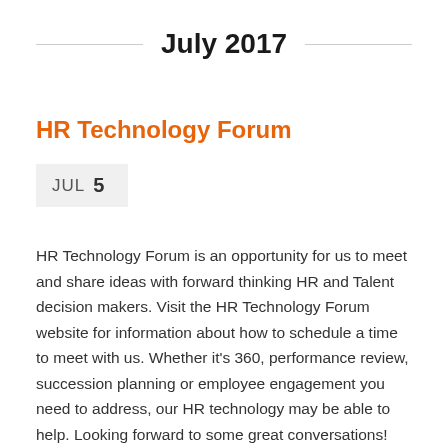July 2017
HR Technology Forum
JUL 5
HR Technology Forum is an opportunity for us to meet and share ideas with forward thinking HR and Talent decision makers. Visit the HR Technology Forum website for information about how to schedule a time to meet with us. Whether it's 360, performance review, succession planning or employee engagement you need to address, our HR technology may be able to help. Looking forward to some great conversations!